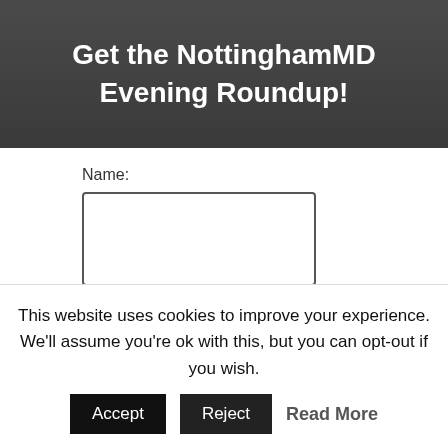Get the NottinghamMD Evening Roundup!
Name:
Email:
Submit
This website uses cookies to improve your experience. We'll assume you're ok with this, but you can opt-out if you wish.
Accept
Reject
Read More